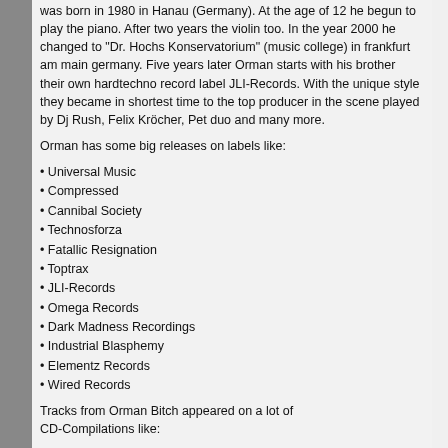was born in 1980 in Hanau (Germany). At the age of 12 he begun to play the piano. After two years the violin too. In the year 2000 he changed to "Dr. Hochs Konservatorium" (music college) in frankfurt am main germany. Five years later Orman starts with his brother their own hardtechno record label JLI-Records. With the unique style they became in shortest time to the top producer in the scene played by Dj Rush, Felix Kröcher, Pet duo and many more.
Orman has some big releases on labels like:
Universal Music
Compressed
Cannibal Society
Technosforza
Fatallic Resignation
Toptrax
JLI-Records
Omega Records
Dark Madness Recordings
Industrial Blasphemy
Elementz Records
Wired Records
Tracks from Orman Bitch appeared on a lot of CD-Compilations like:
Schranz Total
Bollwerk Phase 7 (Dancecharts Austria Place 106)" too.
After some hard years of working his own label was born called "Contempt Music Productions". The sound of CMP is pure techno, from normal drum techno up to fast hardtechno. The Label release music digital, on CD and on ..vinyl... Orman stays for his classic-melody sounds mixed with fast hardtechno, he played on a lot partys in Germany, Belgium, Netherlands, Poland, Austria and Slovakia.
Please give me some information about the party, like how Maybe with some links if its possible...